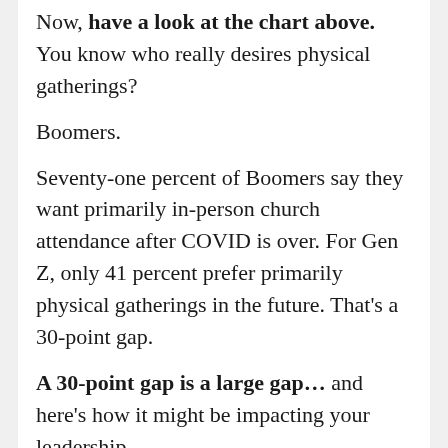Now, have a look at the chart above. You know who really desires physical gatherings?
Boomers.
Seventy-one percent of Boomers say they want primarily in-person church attendance after COVID is over. For Gen Z, only 41 percent prefer primarily physical gatherings in the future. That's a 30-point gap.
A 30-point gap is a large gap… and here's how it might be impacting your leadership.
First, the average senior pastor is a Boomer. According to a Barna survey, the average age of the senior pastors in